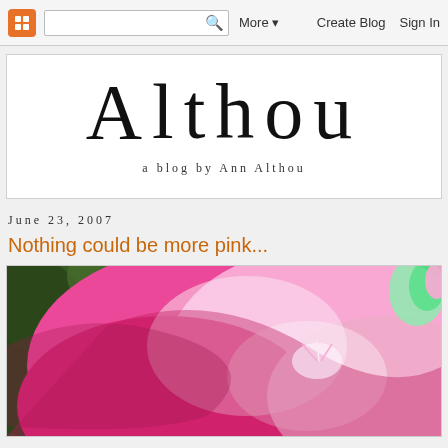More ▼   Create Blog   Sign In
Althou
a blog by Ann Althou
June 23, 2007
Nothing could be more pink...
[Figure (photo): Close-up photograph of a bright pink flower (rose or peony) with dark green blurred background]